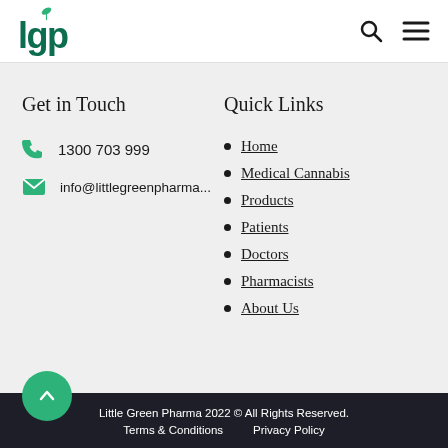LGP logo with search and menu icons
Get in Touch
1300 703 999
info@littlegreenpharma...
Quick Links
Home
Medical Cannabis
Products
Patients
Doctors
Pharmacists
About Us
Little Green Pharma 2022 © All Rights Reserved. Terms & Conditions  Privacy Policy